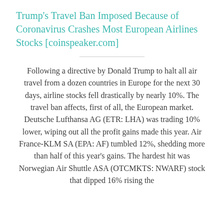Trump's Travel Ban Imposed Because of Coronavirus Crashes Most European Airlines Stocks [coinspeaker.com]
Following a directive by Donald Trump to halt all air travel from a dozen countries in Europe for the next 30 days, airline stocks fell drastically by nearly 10%. The travel ban affects, first of all, the European market. Deutsche Lufthansa AG (ETR: LHA) was trading 10% lower, wiping out all the profit gains made this year. Air France-KLM SA (EPA: AF) tumbled 12%, shedding more than half of this year's gains. The hardest hit was Norwegian Air Shuttle ASA (OTCMKTS: NWARF) stock that dipped 16% rising the